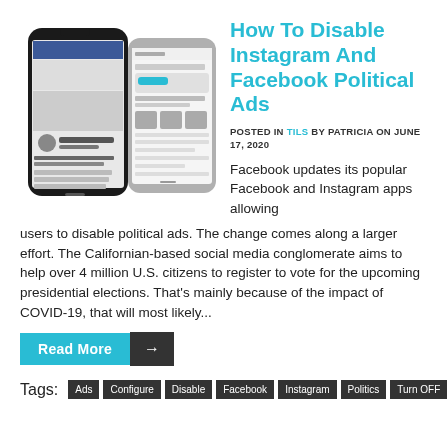[Figure (photo): Two smartphones showing Facebook and Instagram political ad settings screens]
How To Disable Instagram And Facebook Political Ads
POSTED IN TILS BY PATRICIA ON JUNE 17, 2020
Facebook updates its popular Facebook and Instagram apps allowing users to disable political ads. The change comes along a larger effort. The Californian-based social media conglomerate aims to help over 4 million U.S. citizens to register to vote for the upcoming presidential elections. That’s mainly because of the impact of COVID-19, that will most likely...
Read More →
Tags: Ads Configure Disable Facebook Instagram Politics Turn OFF